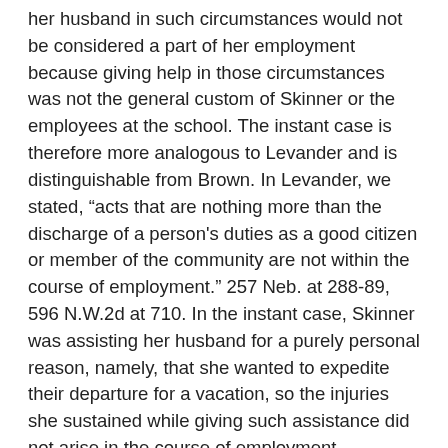her husband in such circumstances would not be considered a part of her employment because giving help in those circumstances was not the general custom of Skinner or the employees at the school. The instant case is therefore more analogous to Levander and is distinguishable from Brown. In Levander, we stated, “acts that are nothing more than the discharge of a person's duties as a good citizen or member of the community are not within the course of employment.” 257 Neb. at 288-89, 596 N.W.2d at 710. In the instant case, Skinner was assisting her husband for a purely personal reason, namely, that she wanted to expedite their departure for a vacation, so the injuries she sustained while giving such assistance did not arise in the course of employment.
As stated above, the phrases “arising out of” and “in the course of” in § 48-101 are not synonymous and must both be established in order for the Nebraska Workers' Compensation Act to apply. See Logsdon v. ISCO Co., 260